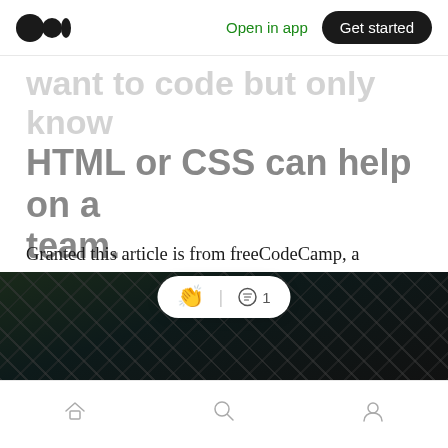Open in app | Get started
want to code but only know HTML or CSS can help on a team.
Granted this article is from freeCodeCamp, a community for learning web development, the statement that non-technical people only know HTML or CSS sets the expectations quite high. What if I don't know HTML or CSS?
[Figure (photo): Dark photo of what appears to be a structural or architectural element, partially visible at bottom of page]
Home | Search | Profile navigation icons